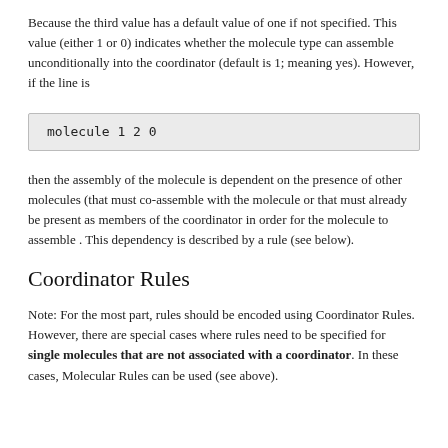Because the third value has a default value of one if not specified. This value (either 1 or 0) indicates whether the molecule type can assemble unconditionally into the coordinator (default is 1; meaning yes). However, if the line is
molecule 1 2 0
then the assembly of the molecule is dependent on the presence of other molecules (that must co-assemble with the molecule or that must already be present as members of the coordinator in order for the molecule to assemble . This dependency is described by a rule (see below).
Coordinator Rules
Note: For the most part, rules should be encoded using Coordinator Rules. However, there are special cases where rules need to be specified for single molecules that are not associated with a coordinator. In these cases, Molecular Rules can be used (see above).